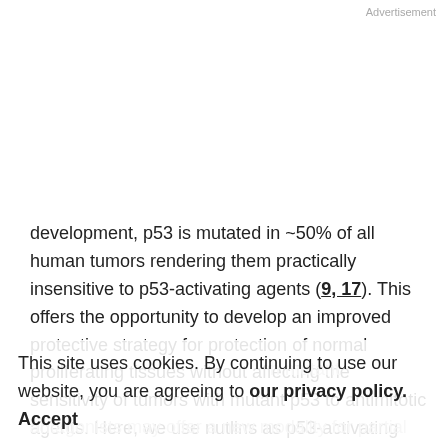Advertisement
development, p53 is mutated in ~50% of all human tumors rendering them practically insensitive to p53-activating agents (9, 17). This offers the opportunity to develop an improved protective strategy for protection of normal proliferating tissues without affecting the sensitivity of tumors with mutant p53 to antimitotic agents. Here, we use nutlins as p53-activating agents and show that they can induce G1-S and G2-M checkpoints and can protect
This site uses cookies. By continuing to use our website, you are agreeing to our privacy policy. Accept
antagonists may offer a new modality for partial protection